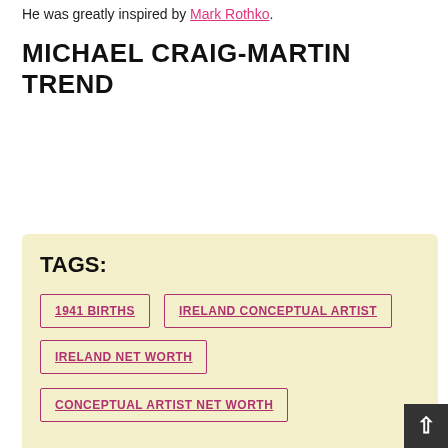He was greatly inspired by Mark Rothko.
MICHAEL CRAIG-MARTIN TREND
TAGS:
1941 BIRTHS
IRELAND CONCEPTUAL ARTIST
IRELAND NET WORTH
CONCEPTUAL ARTIST NET WORTH